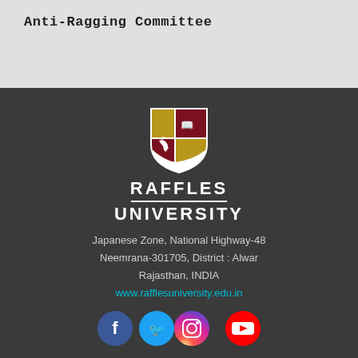Anti-Ragging Committee
[Figure (logo): Raffles University shield logo with gold and maroon quarters, horse and book emblems, with text RAFFLES UNIVERSITY below]
Japanese Zone, National Highway-48
Neemrana-301705, District : Alwar
Rajasthan, INDIA
www.rafflesuniversity.edu.in
[Figure (infographic): Social media icons: Facebook, Twitter, Instagram, YouTube]
+91-1494-675555 | info@rafflesuniversity.edu.in
Privacy Policy    /    Disclaimer
© 2016 Raffles University